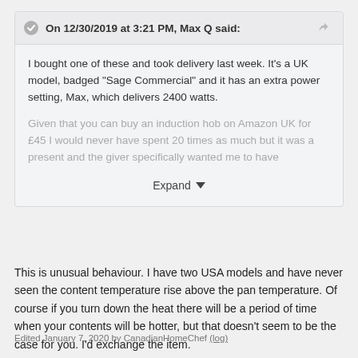On 12/30/2019 at 3:21 PM, Max Q said:
I bought one of these and took delivery last week. It's a UK model, badged "Sage Commercial" and it has an extra power setting, Max, which delivers 2400 watts.
Given that you can buy an induction hob on Amazon UK for £45 I would never have spent 20 times as much but it was a present and the giver specifically wanted me to have
Expand
This is unusual behaviour. I have two USA models and have never seen the content temperature rise above the pan temperature. Of course if you turn down the heat there will be a period of time when your contents will be hotter, but that doesn't seem to be the case for you. I'd exchange the item.
Edited January 7, 2020 by CanadianHomeChef (log)